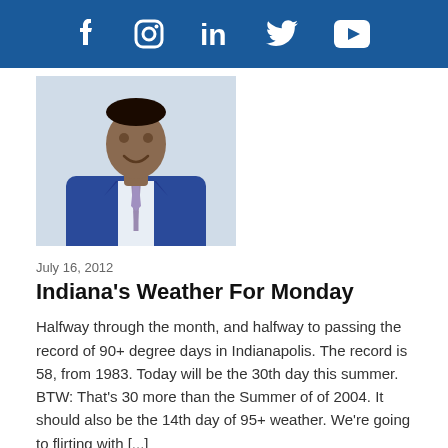Social media icons: Facebook, Instagram, LinkedIn, Twitter, YouTube
[Figure (photo): A man in a blue suit and patterned tie, smiling, professional headshot photo]
July 16, 2012
Indiana's Weather For Monday
Halfway through the month, and halfway to passing the record of 90+ degree days in Indianapolis. The record is 58, from 1983. Today will be the 30th day this summer. BTW: That's 30 more than the Summer of of 2004. It should also be the 14th day of 95+ weather. We're going to flirting with [...]